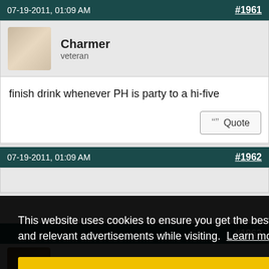07-19-2011, 01:09 AM  #1961
Charmer
Veteran
finish drink whenever PH is party to a hi-five
Quote
07-19-2011, 01:09 AM  #1962
This website uses cookies to ensure you get the best experience and relevant advertisements while visiting. Learn more
Got it!
#1963
Peter Popoff
adept